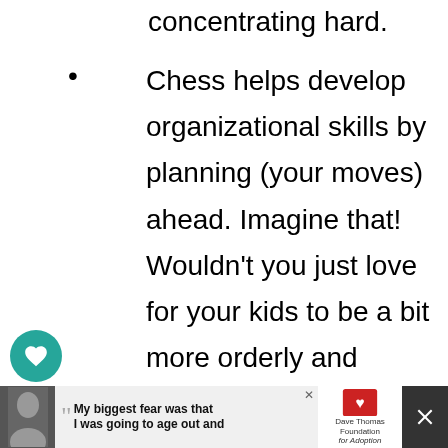concentrating hard.
Chess helps develop organizational skills by planning (your moves) ahead. Imagine that! Wouldn't you just love for your kids to be a bit more orderly and better organized? This little game can help!
[Figure (infographic): Teal heart/like button icon with count 389 below it, and a teal share button below that]
[Figure (infographic): Advertisement banner at bottom: dark background with person photo, quote text 'My biggest fear was that I was going to age out and', Dave Thomas Foundation for Adoption logo, close buttons]